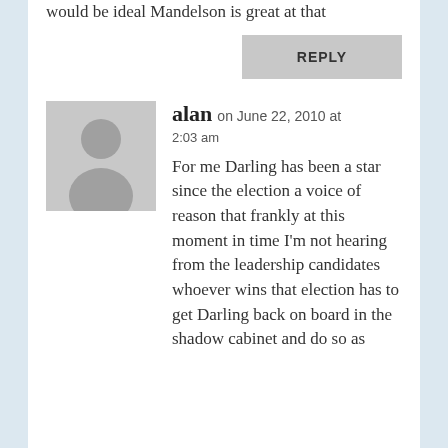would be ideal Mandelson is great at that
REPLY
alan on June 22, 2010 at 2:03 am
For me Darling has been a star since the election a voice of reason that frankly at this moment in time I'm not hearing from the leadership candidates whoever wins that election has to get Darling back on board in the shadow cabinet and do so as